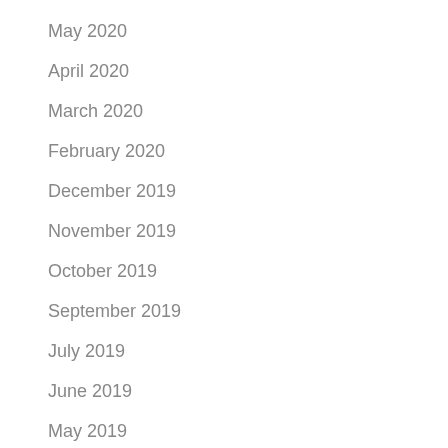May 2020
April 2020
March 2020
February 2020
December 2019
November 2019
October 2019
September 2019
July 2019
June 2019
May 2019
April 2019